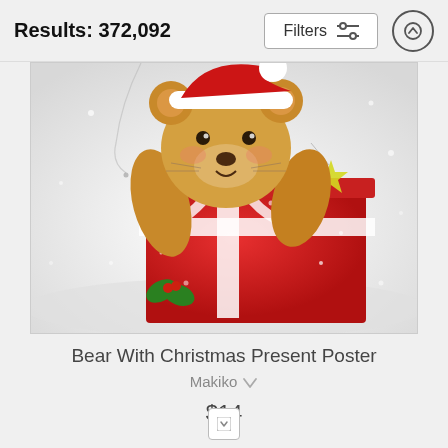Results: 372,092
[Figure (illustration): A cute teddy bear wearing a Santa hat peeking over a large red Christmas gift box wrapped with a white ribbon and bow. Holly leaves visible at bottom left, a yellow star ornament at right, snowy background.]
Bear With Christmas Present Poster
Makiko
$14